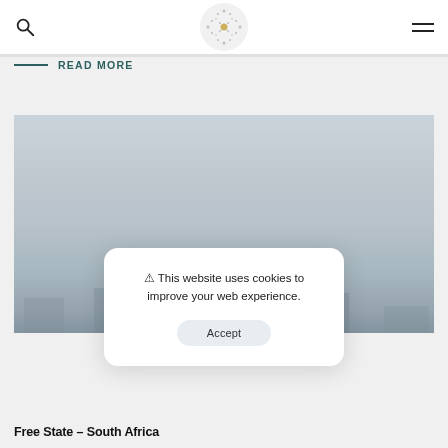READ MORE
[Figure (photo): Washed-out landscape photo of Free State, South Africa, showing hazy sky and silhouetted figures in the distance.]
⚠ This website uses cookies to improve your web experience.
Accept
Free State – South Africa